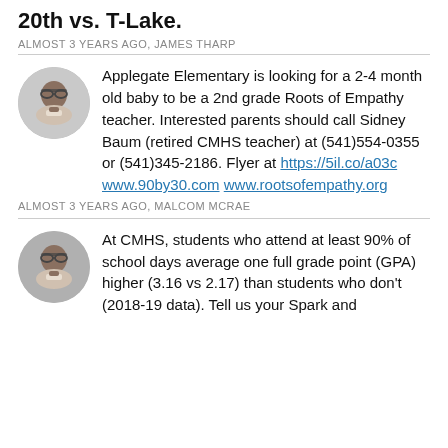20th vs. T-Lake.
ALMOST 3 YEARS AGO, JAMES THARP
Applegate Elementary is looking for a 2-4 month old baby to be a 2nd grade Roots of Empathy teacher. Interested parents should call Sidney Baum (retired CMHS teacher) at (541)554-0355 or (541)345-2186. Flyer at https://5il.co/a03c www.90by30.com www.rootsofempathy.org
ALMOST 3 YEARS AGO, MALCOM MCRAE
At CMHS, students who attend at least 90% of school days average one full grade point (GPA) higher (3.16 vs 2.17) than students who don't (2018-19 data). Tell us your Spark and